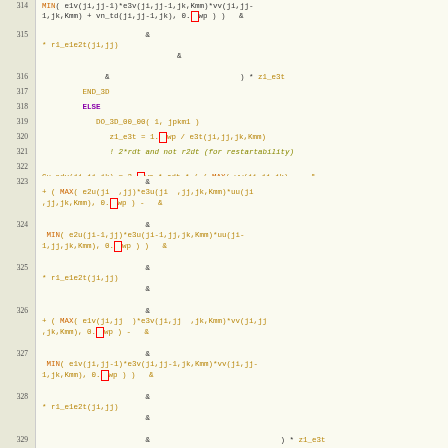[Figure (screenshot): Fortran source code viewer showing lines 314-330 with syntax highlighting. Line numbers on left in beige column. Code includes DO_3D loops, MIN/MAX function calls, array references with ji,jj,jk,Kmm indices, and continuation ampersands. Keywords in purple/yellow/orange, comments in italic yellow-green, special _wp markers shown as red-boxed characters.]